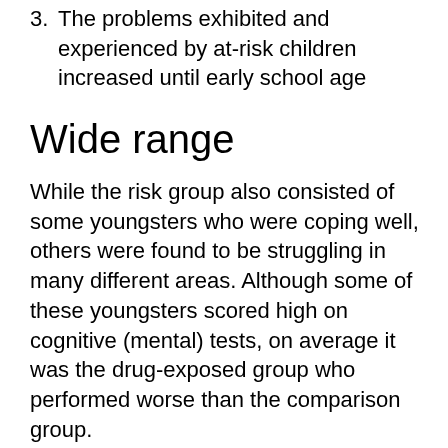3. The problems exhibited and experienced by at-risk children increased until early school age
Wide range
While the risk group also consisted of some youngsters who were coping well, others were found to be struggling in many different areas. Although some of these youngsters scored high on cognitive (mental) tests, on average it was the drug-exposed group who performed worse than the comparison group.
- The risk group showed wide variation. While one youth was annoyed by having to take up an extra course to get into medical school, there were many